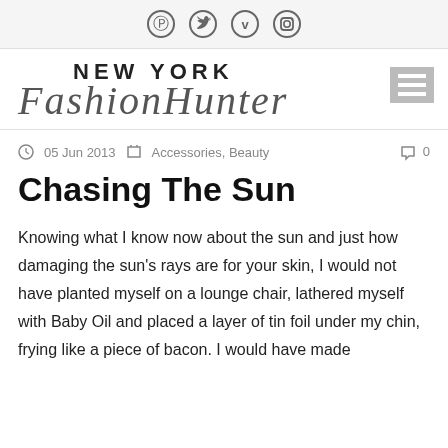Social icons: Pinterest, Twitter, Vimeo, Instagram
[Figure (logo): New York Fashion Hunter logo with serif uppercase NEW YORK text and cursive script FashionHunter below]
05 Jun 2013   Accessories, Beauty   0
Chasing The Sun
Knowing what I know now about the sun and just how damaging the sun's rays are for your skin, I would not have planted myself on a lounge chair, lathered myself with Baby Oil and placed a layer of tin foil under my chin, frying like a piece of bacon. I would have made